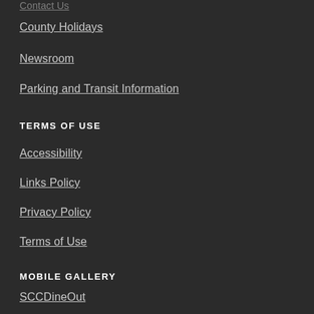Contact Us
County Holidays
Newsroom
Parking and Transit Information
TERMS OF USE
Accessibility
Links Policy
Privacy Policy
Terms of Use
MOBILE GALLERY
SCCDineOut
SCCVote
Property Tax Payment